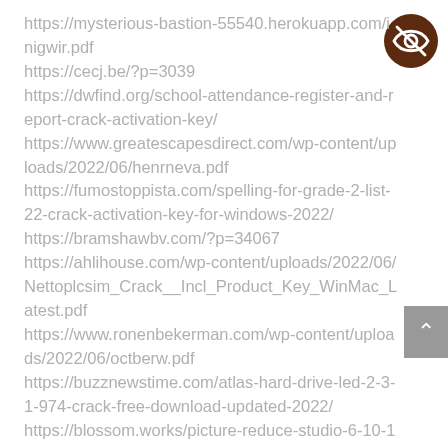https://mysterious-bastion-55540.herokuapp.com/inigwir.pdf
https://cecj.be/?p=3039
https://dwfind.org/school-attendance-register-and-report-crack-activation-key/
https://www.greatescapesdirect.com/wp-content/uploads/2022/06/henrneva.pdf
https://fumostoppista.com/spelling-for-grade-2-list-22-crack-activation-key-for-windows-2022/
https://bramshawbv.com/?p=34067
https://ahlihouse.com/wp-content/uploads/2022/06/Nettoplcsim_Crack__Incl_Product_Key_WinMac_Latest.pdf
https://www.ronenbekerman.com/wp-content/uploads/2022/06/octberw.pdf
https://buzznewstime.com/atlas-hard-drive-led-2-3-1-974-crack-free-download-updated-2022/
https://blossom.works/picture-reduce-studio-6-10-13-2008-crack-activation-download-2022-
[Figure (logo): Dark brown circular badge with a crossed-out eye icon (privacy/hidden icon)]